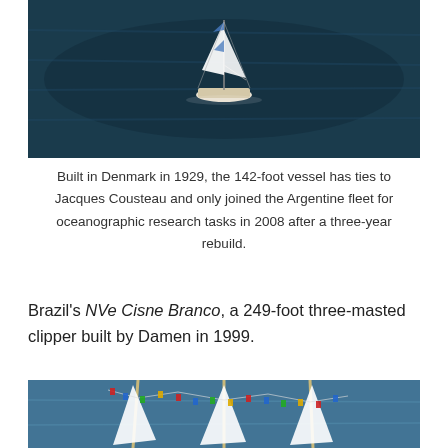[Figure (photo): Aerial view of a white sailboat with blue flags sailing on dark ocean water]
Built in Denmark in 1929, the 142-foot vessel has ties to Jacques Cousteau and only joined the Argentine fleet for oceanographic research tasks in 2008 after a three-year rebuild.
Brazil’s NVe Cisne Branco, a 249-foot three-masted clipper built by Damen in 1999.
[Figure (photo): Aerial view of a tall sailing ship with multiple masts decorated with colorful pennant flags, white sails, on blue ocean]